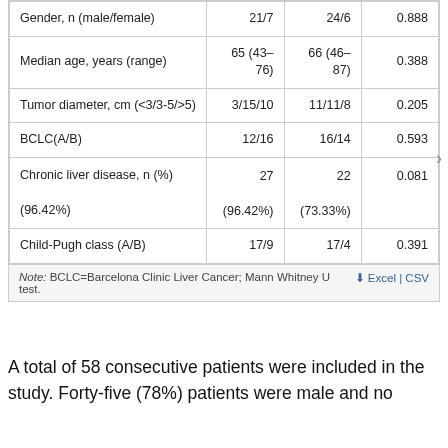|  | Group 1 | Group 2 | P value |
| --- | --- | --- | --- |
| Gender, n (male/female) | 21/7 | 24/6 | 0.888 |
| Median age, years (range) | 65 (43–76) | 66 (46–87) | 0.388 |
| Tumor diameter, cm (<3/3-5/>5) | 3/15/10 | 11/11/8 | 0.205 |
| BCLC(A/B) | 12/16 | 16/14 | 0.593 |
| Chronic liver disease, n (%) | 27 (96.42%) | 22 (73.33%) | 0.081 |
| Child-Pugh class (A/B) | 17/9 | 17/4 | 0.391 |
Note: BCLC=Barcelona Clinic Liver Cancer; Mann Whitney U test.
A total of 58 consecutive patients were included in the study. Forty-five (78%) patients were male and no